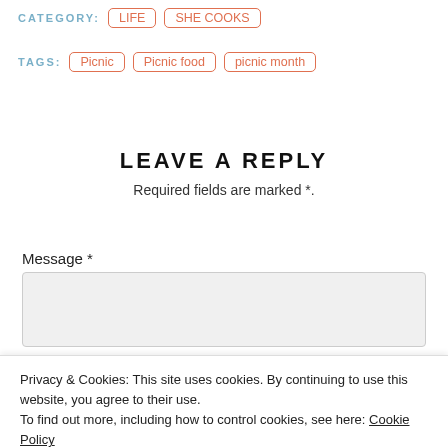CATEGORY: LIFE SHE COOKS
TAGS: Picnic  Picnic food  picnic month
LEAVE A REPLY
Required fields are marked *.
Message *
Name *
Privacy & Cookies: This site uses cookies. By continuing to use this website, you agree to their use.
To find out more, including how to control cookies, see here: Cookie Policy
Close and accept